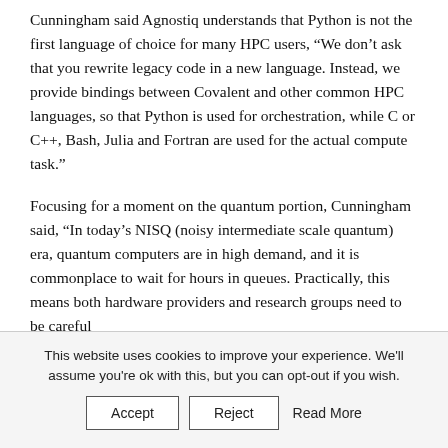Cunningham said Agnostiq understands that Python is not the first language of choice for many HPC users, “We don’t ask that you rewrite legacy code in a new language. Instead, we provide bindings between Covalent and other common HPC languages, so that Python is used for orchestration, while C or C++, Bash, Julia and Fortran are used for the actual compute task.”
Focusing for a moment on the quantum portion, Cunningham said, “In today’s NISQ (noisy intermediate scale quantum) era, quantum computers are in high demand, and it is commonplace to wait for hours in queues. Practically, this means both hardware providers and research groups need to be careful
This website uses cookies to improve your experience. We’ll assume you’re ok with this, but you can opt-out if you wish. Accept Reject Read More